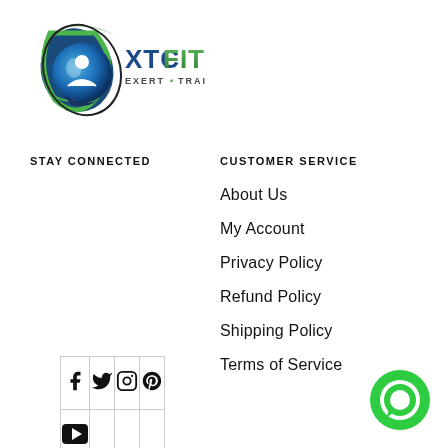[Figure (logo): XTC Fitness logo with green/blue sphere icon and text 'XTCFITNESS EXERT · TRAIN · CONDITION']
STAY CONNECTED
[Figure (infographic): Social media icon grid: Facebook, Twitter, Instagram, Pinterest (top row); YouTube (bottom row left)]
CUSTOMER SERVICE
About Us
My Account
Privacy Policy
Refund Policy
Shipping Policy
Terms of Service
[Figure (illustration): Green circular chat/message bubble icon in bottom-right corner]